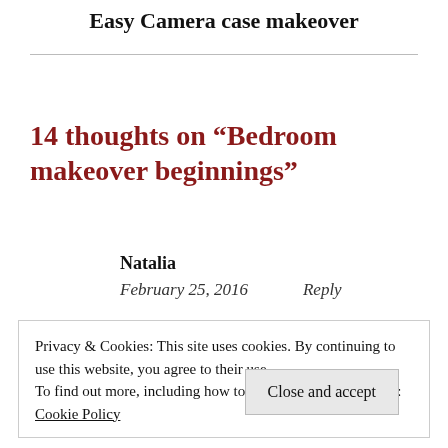Easy Camera case makeover
14 thoughts on “Bedroom makeover beginnings”
Natalia
February 25, 2016    Reply
Privacy & Cookies: This site uses cookies. By continuing to use this website, you agree to their use.
To find out more, including how to control cookies, see here:
Cookie Policy
Close and accept